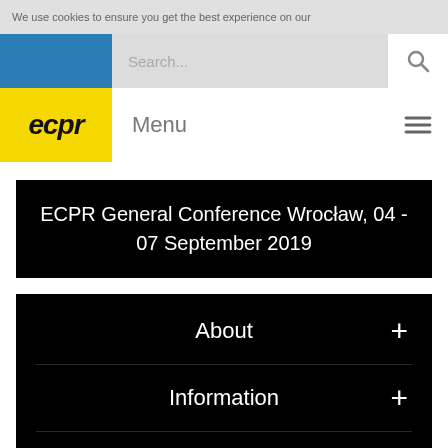We use cookies to ensure you get the best experience on our
[Figure (screenshot): ECPR website navigation header with blue logo area, search bar, yellow ECPR logo, and Menu label with hamburger icon]
ECPR General Conference Wrocław, 04 - 07 September 2019
About +
Information +
Guides +